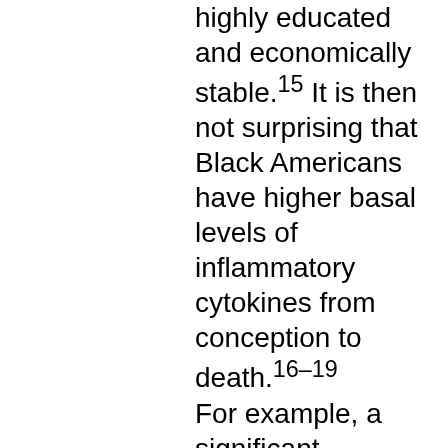highly educated and economically stable.15 It is then not surprising that Black Americans have higher basal levels of inflammatory cytokines from conception to death.16–19 For example, a significant proportion of Black males who died from Covid-19 disease complications had extraordinarily high inflammatory cytokine levels.16  Rapid and significantly elevated cytokine release is a feature of complications due to Covid-19 disease. One can imagine that having an already high baseline level of inflammatory cytokines might contribute to mortality. Citing the World Health